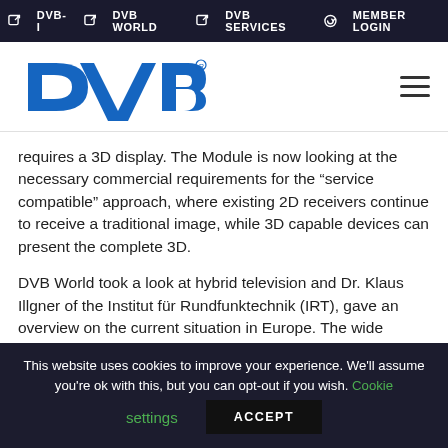DVB-I | DVB WORLD | DVB SERVICES | MEMBER LOGIN
[Figure (logo): DVB logo in blue with DVB text and registered trademark symbol, and hamburger menu icon on the right]
requires a 3D display. The Module is now looking at the necessary commercial requirements for the “service compatible” approach, where existing 2D receivers continue to receive a traditional image, while 3D capable devices can present the complete 3D.
DVB World took a look at hybrid television and Dr. Klaus Illgner of the Institut für Rundfunktechnik (IRT), gave an overview on the current situation in Europe. The wide availability of broadband serves as a door opener for new services such as “Video on Demand” or special channels
This website uses cookies to improve your experience. We'll assume you're ok with this, but you can opt-out if you wish. Cookie settings ACCEPT